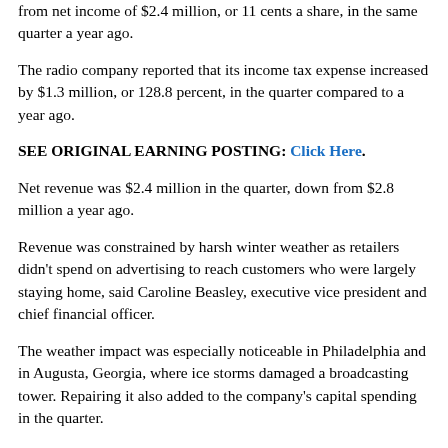from net income of $2.4 million, or 11 cents a share, in the same quarter a year ago.
The radio company reported that its income tax expense increased by $1.3 million, or 128.8 percent, in the quarter compared to a year ago.
SEE ORIGINAL EARNING POSTING: Click Here.
Net revenue was $2.4 million in the quarter, down from $2.8 million a year ago.
Revenue was constrained by harsh winter weather as retailers didn't spend on advertising to reach customers who were largely staying home, said Caroline Beasley, executive vice president and chief financial officer.
The weather impact was especially noticeable in Philadelphia and in Augusta, Georgia, where ice storms damaged a broadcasting tower. Repairing it also added to the company's capital spending in the quarter.